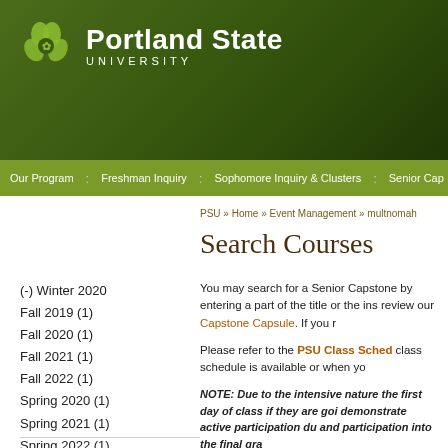[Figure (logo): Portland State University logo with green clover icon and white text on dark green header background]
Our Program : Freshman Inquiry : Sophomore Inquiry & Clusters : Senior Cap
PSU » Home » Event Management » multnomah
Search Courses
(-) Winter 2020
Fall 2019 (1)
Fall 2020 (1)
Fall 2021 (1)
Fall 2022 (1)
Spring 2020 (1)
Spring 2021 (1)
Spring 2022 (1)
Winter 2021 (1)
Winter 2022 (1)
You may search for a Senior Capstone by entering a part of the title or the instructor name. You may also review our Capstone Capsule. If you r
Please refer to the PSU Class Sched class schedule is available or when yo
NOTE:  Due to the intensive nature the first day of class if they are goi demonstrate active participation du and participation into the final gra
NOTE:  "Sustainability" tagged cou seek approval from Joseph Maser,